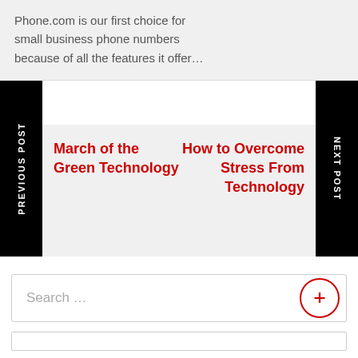Phone.com is our first choice for small business phone numbers because of all the features it offer…
PREVIOUS POST
March of the Green Technology
How to Overcome Stress From Technology
NEXT POST
Search …